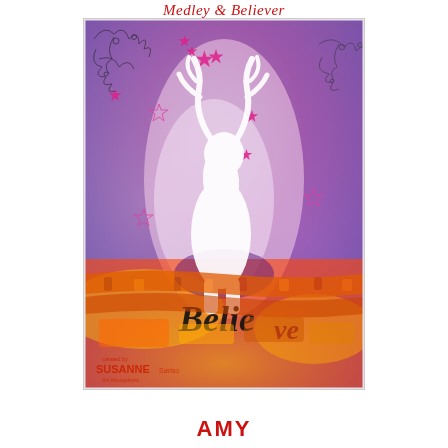Medley & Believer
[Figure (photo): Mixed media art journal page featuring a white deer/stag silhouette against a vibrant watercolor background of pink, purple, blue, and orange. Stars are scattered around. The word 'Believe' is stamped in black. Bottom portion has orange textured banner/ribbon elements. Bottom left corner shows 'created by SUSANNE' and 'Art Absorptions' signature stamps.]
AMY